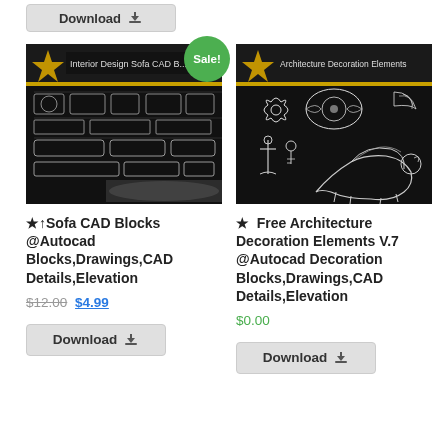[Figure (screenshot): Partial Download button visible at top of page]
[Figure (screenshot): Interior Design Sofa CAD Blocks product image showing CAD technical drawings of sofas on black background with Sale badge]
★↑Sofa CAD Blocks @Autocad Blocks,Drawings,CAD Details,Elevation
$12.00 $4.99
[Figure (screenshot): Download button for Sofa CAD Blocks]
[Figure (screenshot): Architecture Decoration Elements product image showing decorative ornamental CAD blocks including a griffin on black background]
★  Free Architecture Decoration Elements V.7 @Autocad Decoration Blocks,Drawings,CAD Details,Elevation
$0.00
[Figure (screenshot): Download button for Architecture Decoration Elements]